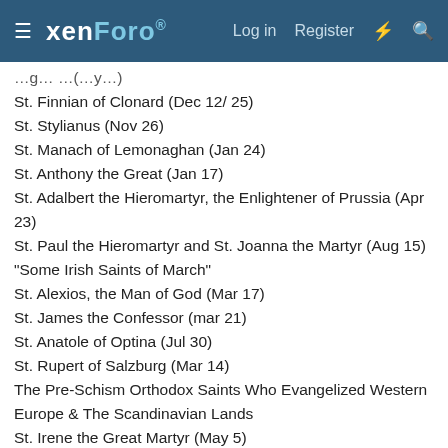xenForo — Log in  Register
St. Finnian of Clonard (Dec 12/ 25)
St. Stylianus (Nov 26)
St. Manach of Lemonaghan (Jan 24)
St. Anthony the Great (Jan 17)
St. Adalbert the Hieromartyr, the Enlightener of Prussia (Apr 23)
St. Paul the Hieromartyr and St. Joanna the Martyr (Aug 15)
"Some Irish Saints of March"
St. Alexios, the Man of God (Mar 17)
St. James the Confessor (mar 21)
St. Anatole of Optina (Jul 30)
St. Rupert of Salzburg (Mar 14)
The Pre-Schism Orthodox Saints Who Evangelized Western Europe & The Scandinavian Lands
St. Irene the Great Martyr (May 5)
St. Anthony the Roman of Novgorod (Jan 17)
St. Attracta  (Aug 11)
St. Nicholas of Alma-Ata and Kazakhstan (Oct 12)
St. Barnabas the New Confessor (Oct 30)
34 Holy Martyrs of Valaam Monastery (Feb 20)